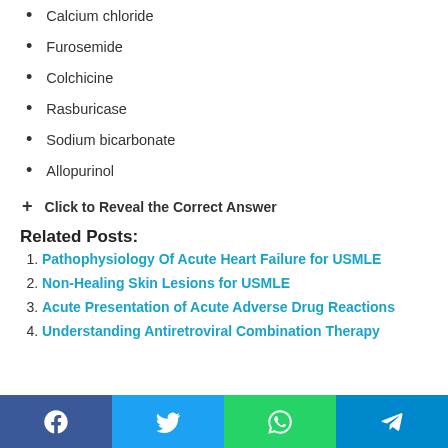Calcium chloride
Furosemide
Colchicine
Rasburicase
Sodium bicarbonate
Allopurinol
+ Click to Reveal the Correct Answer
Related Posts:
Pathophysiology Of Acute Heart Failure for USMLE
Non-Healing Skin Lesions for USMLE
Acute Presentation of Acute Adverse Drug Reactions
Understanding Antiretroviral Combination Therapy